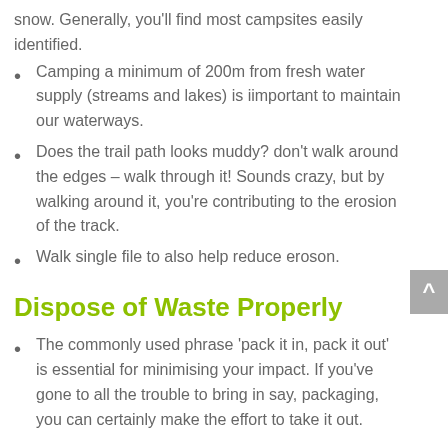snow. Generally, you'll find most campsites easily identified.
Camping a minimum of 200m from fresh water supply (streams and lakes) is iimportant to maintain our waterways.
Does the trail path looks muddy? don't walk around the edges – walk through it! Sounds crazy, but by walking around it, you're contributing to the erosion of the track.
Walk single file to also help reduce eroson.
Dispose of Waste Properly
The commonly used phrase 'pack it in, pack it out' is essential for minimising your impact. If you've gone to all the trouble to bring in say, packaging, you can certainly make the effort to take it out.